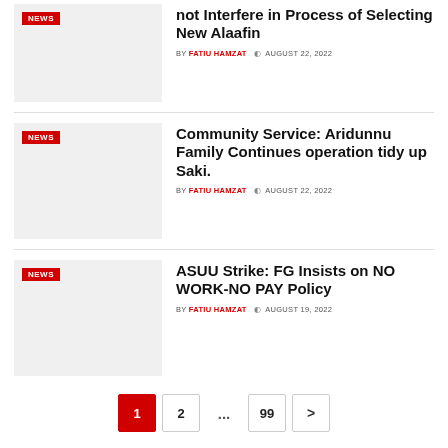...not Interfere in Process of Selecting New Alaafin BY FATIU HAMZAT AUGUST 22, 2022
Community Service: Aridunnu Family Continues operation tidy up Saki. BY FATIU HAMZAT AUGUST 22, 2022
ASUU Strike: FG Insists on NO WORK-NO PAY Policy BY FATIU HAMZAT AUGUST 19, 2022